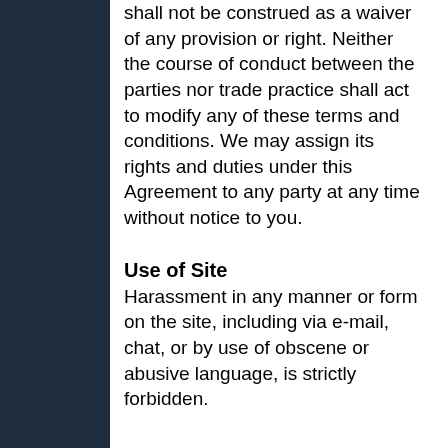shall not be construed as a waiver of any provision or right. Neither the course of conduct between the parties nor trade practice shall act to modify any of these terms and conditions. We may assign its rights and duties under this Agreement to any party at any time without notice to you.
Use of Site
Harassment in any manner or form on the site, including via e-mail, chat, or by use of obscene or abusive language, is strictly forbidden.